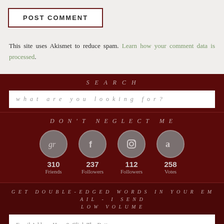POST COMMENT
This site uses Akismet to reduce spam. Learn how your comment data is processed.
SEARCH
what are you looking for?
DON'T NEGLECT ME
[Figure (infographic): Social media icons: Goodreads (310 Friends), Facebook (237 Followers), Instagram (112 Followers), Amazon (258 Votes)]
GET DOUBLE-EDGED WORDS IN YOUR EMAIL - I SEND LOW VOLUME
Email Address Here & Click The Button
THE BUTTON